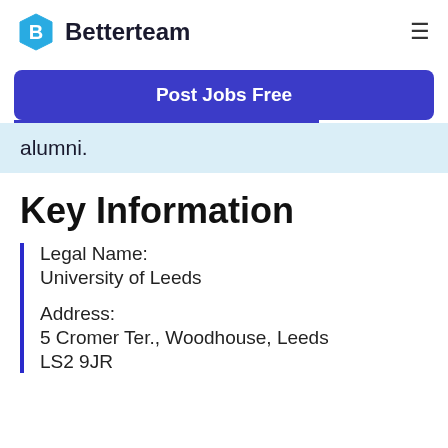Betterteam
Post Jobs Free
alumni.
Key Information
Legal Name:
University of Leeds
Address:
5 Cromer Ter., Woodhouse, Leeds LS2 9JR